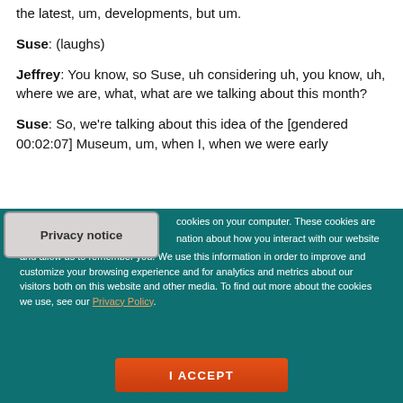the latest, um, developments, but um.
Suse: (laughs)
Jeffrey: You know, so Suse, uh considering uh, you know, uh, where we are, what, what are we talking about this month?
Suse: So, we're talking about this idea of the [gendered 00:02:07] Museum, um, when I, when we were early
Privacy notice
cookies on your computer. These cookies are nation about how you interact with our website and allow us to remember you. We use this information in order to improve and customize your browsing experience and for analytics and metrics about our visitors both on this website and other media. To find out more about the cookies we use, see our Privacy Policy.
I ACCEPT